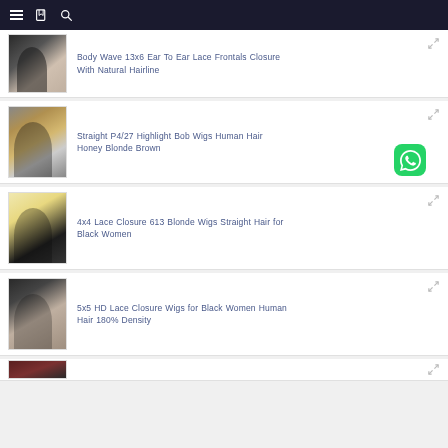Navigation bar with menu, bookmark, and search icons
Body Wave 13x6 Ear To Ear Lace Frontals Closure With Natural Hairline
Straight P4/27 Highlight Bob Wigs Human Hair Honey Blonde Brown
4x4 Lace Closure 613 Blonde Wigs Straight Hair for Black Women
5x5 HD Lace Closure Wigs for Black Women Human Hair 180% Density